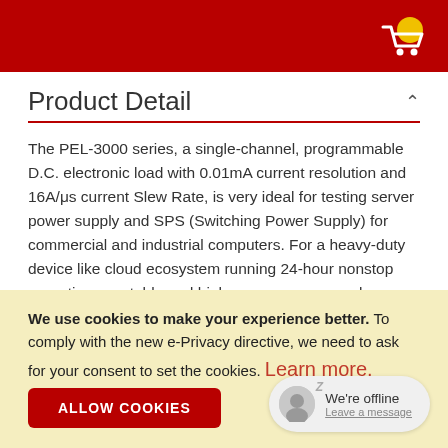Product Detail
The PEL-3000 series, a single-channel, programmable D.C. electronic load with 0.01mA current resolution and 16A/μs current Slew Rate, is very ideal for testing server power supply and SPS (Switching Power Supply) for commercial and industrial computers. For a heavy-duty device like cloud ecosystem running 24-hour nonstop operations, a stable and high-power power supply, ranging from 350W to 1500W, is required to maintain the normal operation of server, Hub, and the equipment of data storage and internet communications. Owing to the increasing demand of
We use cookies to make your experience better. To comply with the new e-Privacy directive, we need to ask for your consent to set the cookies. Learn more.
ALLOW COOKIES
We're offline
Leave a message